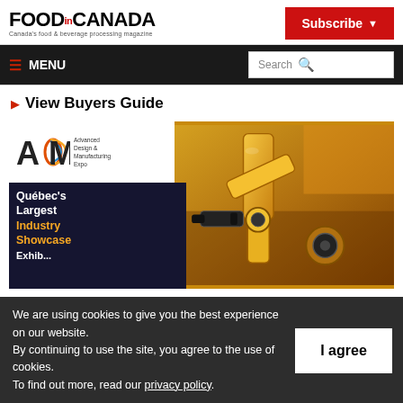FOOD.CANADA - Canada's food & beverage processing magazine
Subscribe
≡ MENU
Search
View Buyers Guide
[Figure (photo): ADM (Advanced Design & Manufacturing Expo) advertisement banner showing yellow industrial robot arm. Text reads: Québec's Largest Industry Showcase]
We are using cookies to give you the best experience on our website.
By continuing to use the site, you agree to the use of cookies.
To find out more, read our privacy policy.